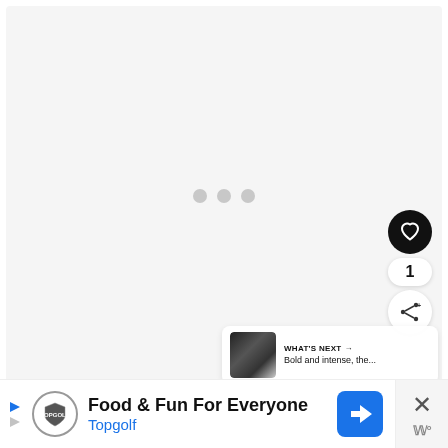[Figure (screenshot): Loading state of a media player or content area showing three gray dots centered on a light gray background]
[Figure (infographic): Heart/like button (black circle with white heart), like count showing 1, and share button (white circle with share icon)]
[Figure (infographic): What's Next panel showing a dark thumbnail image with text 'WHAT'S NEXT → Bold and intense, the...']
[Figure (infographic): Advertisement bar at bottom: Topgolf 'Food & Fun For Everyone' with blue navigation icon, and close button with X]